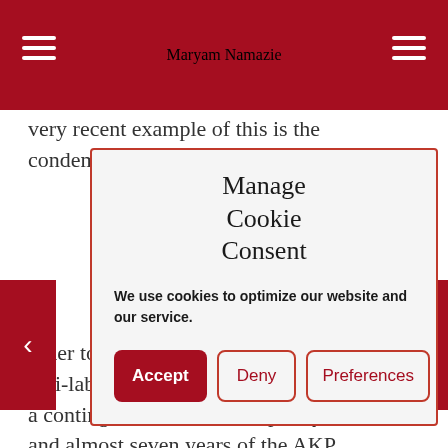Maryam Namazie
very recent example of this is the condemnation of the resistance of
Manage Cookie Consent
We use cookies to optimize our website and our service.
Accept
Deny
Preferences
order to create chaos in Turkey. This anti-labour stance of Islamists is not a contingent factor of their policy and almost seven years of the AKP